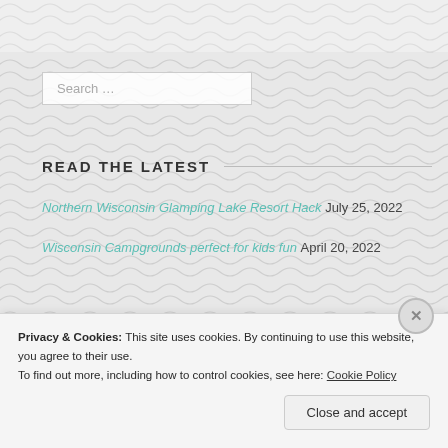[Figure (other): Wave pattern background with repeating arc/scallop motif in light gray]
Search ...
READ THE LATEST
Northern Wisconsin Glamping Lake Resort Hack July 25, 2022
Wisconsin Campgrounds perfect for kids fun April 20, 2022
Privacy & Cookies: This site uses cookies. By continuing to use this website, you agree to their use.
To find out more, including how to control cookies, see here: Cookie Policy
Close and accept